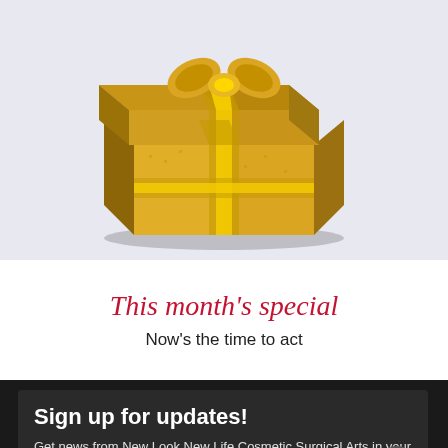[Figure (photo): Gold wrapped gift box on a light lavender-grey background, partially cropped at top]
This month's special
Now's the time to act
Sign up for updates!
Get news from New Look New Life Cosmetic Surgical Arts in your inbox.